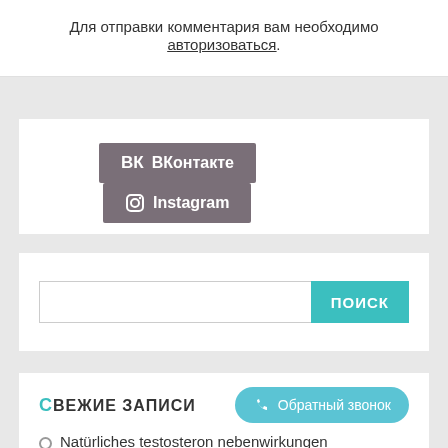Для отправки комментария вам необходимо авторизоваться.
[Figure (screenshot): Two social media buttons: ВКонтакте and Instagram, dark grey/mauve background]
[Figure (screenshot): Search bar with text input and teal ПОИСК button]
Свежие записи
[Figure (screenshot): Teal rounded button labeled Обратный звонок with phone icon]
Natürliches testosteron nebenwirkungen